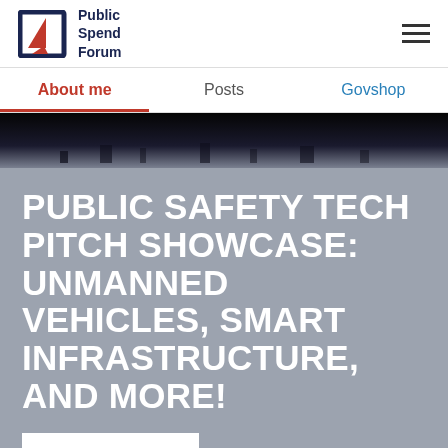Public Spend Forum
About me | Posts | Govshop
[Figure (photo): Dark night cityscape or landscape banner image strip]
PUBLIC SAFETY TECH PITCH SHOWCASE: UNMANNED VEHICLES, SMART INFRASTRUCTURE, AND MORE!
READ POST